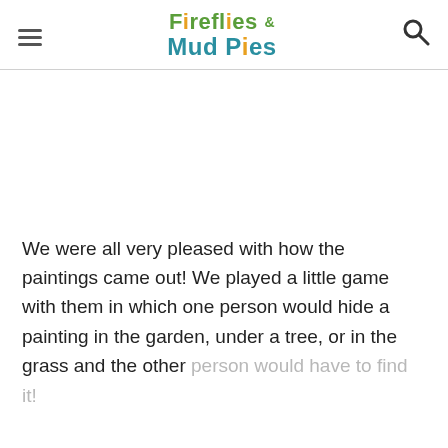Fireflies & Mud Pies
We were all very pleased with how the paintings came out! We played a little game with them in which one person would hide a painting in the garden, under a tree, or in the grass and the other person would have to find it!